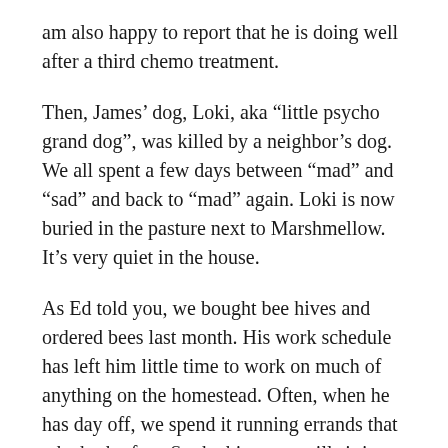am also happy to report that he is doing well after a third chemo treatment.
Then, James’ dog, Loki, aka “little psycho grand dog”, was killed by a neighbor’s dog. We all spent a few days between “mad” and “sad” and back to “mad” again. Loki is now buried in the pasture next to Marshmellow. It’s very quiet in the house.
As Ed told you, we bought bee hives and ordered bees last month. His work schedule has left him little time to work on much of anything on the homestead. Often, when he has day off, we spend it running errands that take both of us. So the hives are still sitting in the garage, disassembled. He did get the gate